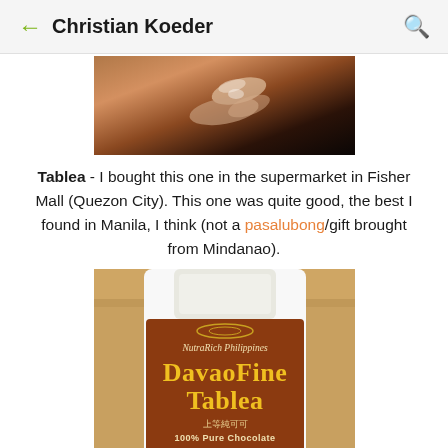Christian Koeder
[Figure (photo): Close-up photograph of a hand holding a small white round tablet/disc against a dark background]
Tablea - I bought this one in the supermarket in Fisher Mall (Quezon City). This one was quite good, the best I found in Manila, I think (not a pasalubong/gift brought from Mindanao).
[Figure (photo): Photo of a NutraRich Philippines DavaoFine Tablea product jar label. Brown label with gold text reading 'DavaoFine Tablea', Chinese characters, and '100% Pure Chocolate']